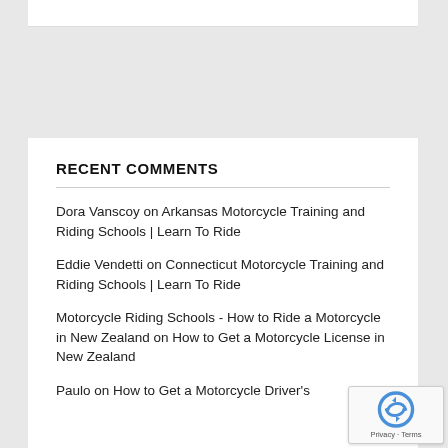RECENT COMMENTS
Dora Vanscoy on Arkansas Motorcycle Training and Riding Schools | Learn To Ride
Eddie Vendetti on Connecticut Motorcycle Training and Riding Schools | Learn To Ride
Motorcycle Riding Schools - How to Ride a Motorcycle in New Zealand on How to Get a Motorcycle License in New Zealand
Paulo on How to Get a Motorcycle Driver's